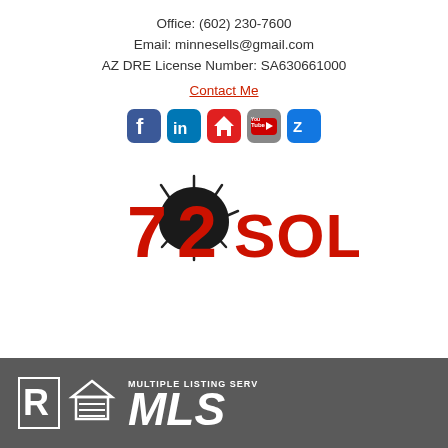Office: (602) 230-7600
Email: minnesells@gmail.com
AZ DRE License Number: SA630661000
Contact Me
[Figure (logo): Social media icons: Facebook, LinkedIn, Realtor, YouTube, Zillow]
[Figure (logo): 72SOLD real estate company logo with sun rays and teardrop icon]
[Figure (logo): Footer with Realtor R logo, Equal Housing logo, and Multiple Listing Service MLS logo on dark gray background]